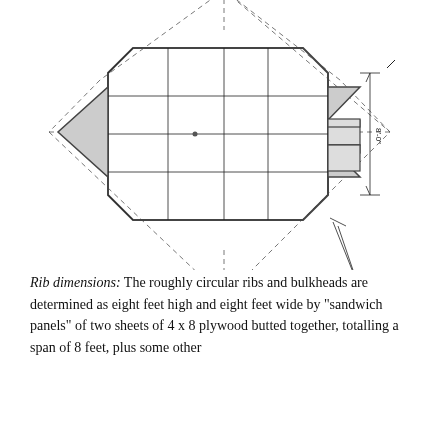[Figure (engineering-diagram): Top-down plan view of an elongated octagonal/diamond-shaped structure. A rectangle with cut corners forms the main body with internal grid lines (ribs/bulkheads). Diamond-shaped dashed outlines extend beyond the main rectangle on all four sides. Dimension annotations show '8-0' width on the right side and '12-9' diagonal dimension label. Tick marks indicate measurement endpoints.]
Rib dimensions: The roughly circular ribs and bulkheads are determined as eight feet high and eight feet wide by "sandwich panels" of two sheets of 4 x 8 plywood butted together, totalling a span of 8 feet, plus some other...